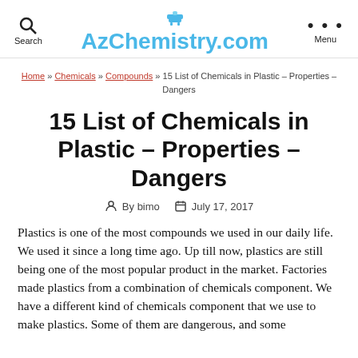AzChemistry.com
Home » Chemicals » Compounds » 15 List of Chemicals in Plastic – Properties – Dangers
15 List of Chemicals in Plastic – Properties – Dangers
By bimo   July 17, 2017
Plastics is one of the most compounds we used in our daily life. We used it since a long time ago. Up till now, plastics are still being one of the most popular product in the market. Factories made plastics from a combination of chemicals component. We have a different kind of chemicals component that we use to make plastics. Some of them are dangerous, and some